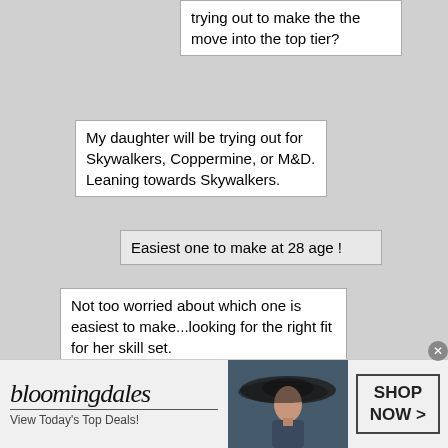trying out to make the the move into the top tier?
My daughter will be trying out for Skywalkers, Coppermine, or M&D. Leaning towards Skywalkers.
Easiest one to make at 28 age !
Not too worried about which one is easiest to make...looking for the right fit for her skill set.
Everyone also needs to remember that especialy as a new player, you have a higher standard to meet. It is very unlikely you make a new team unless you will be one of the 14 or 15 top players. Chemistry matters and almost no experienced coach is going to bring in a new player who is unlikely to get significant playing time. Also, most clubs will try to promote at
[Figure (screenshot): Bloomingdales advertisement banner with logo, tagline 'View Today's Top Deals!', woman in wide-brim hat image, and 'SHOP NOW >' button]